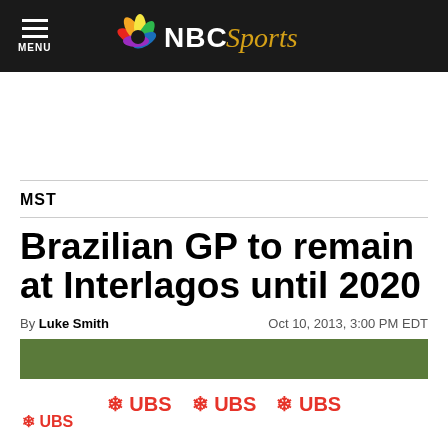NBC Sports — MENU
MST
Brazilian GP to remain at Interlagos until 2020
By Luke Smith   Oct 10, 2013, 3:00 PM EDT
[Figure (photo): Photo of Interlagos circuit with UBS sponsor banners and crowd in background]